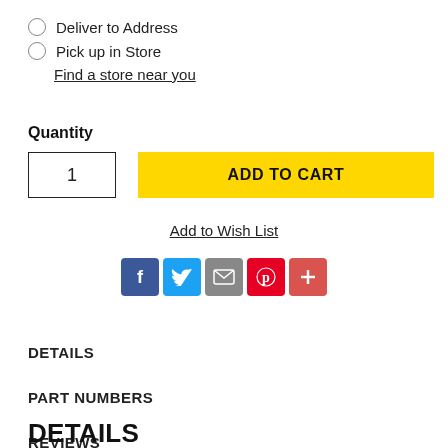Deliver to Address
Pick up in Store
Find a store near you
Quantity
1
ADD TO CART
Add to Wish List
[Figure (other): Social share icons: Facebook, Twitter, Email, Pinterest, Plus]
DETAILS
PART NUMBERS
REVIEWS
DETAILS